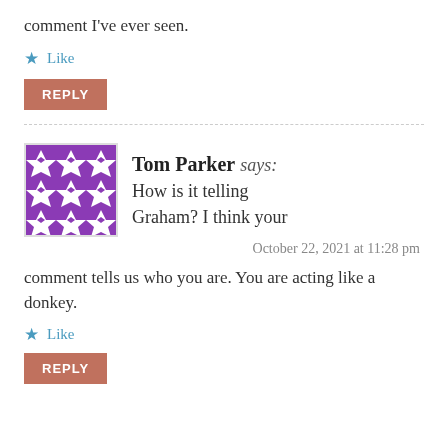comment I've ever seen.
Like
REPLY
Tom Parker says: How is it telling Graham? I think your
October 22, 2021 at 11:28 pm
comment tells us who you are. You are acting like a donkey.
Like
REPLY